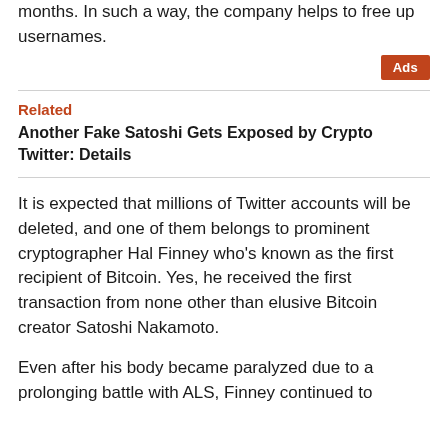months. In such a way, the company helps to free up usernames.
Ads
Related
Another Fake Satoshi Gets Exposed by Crypto Twitter: Details
It is expected that millions of Twitter accounts will be deleted, and one of them belongs to prominent cryptographer Hal Finney who's known as the first recipient of Bitcoin. Yes, he received the first transaction from none other than elusive Bitcoin creator Satoshi Nakamoto.
Even after his body became paralyzed due to a prolonging battle with ALS, Finney continued to